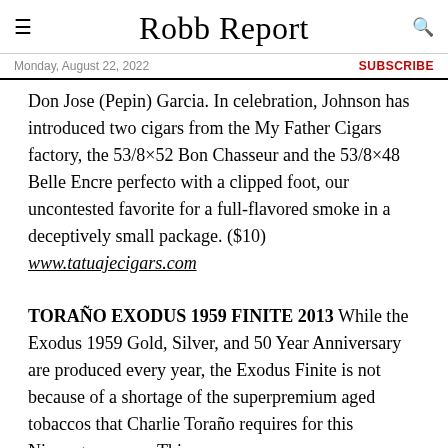Robb Report
Monday, August 22, 2022 | SUBSCRIBE
Don Jose (Pepin) Garcia. In celebration, Johnson has introduced two cigars from the My Father Cigars factory, the 53/8×52 Bon Chasseur and the 53/8×48 Belle Encre perfecto with a clipped foot, our uncontested favorite for a full-flavored smoke in a deceptively small package. ($10) www.tatuajecigars.com
TORAÑO EXODUS 1959 FINITE 2013 While the Exodus 1959 Gold, Silver, and 50 Year Anniversary are produced every year, the Exodus Finite is not because of a shortage of the superpremium aged tobaccos that Charlie Toraño requires for this Nicaraguan puro. This